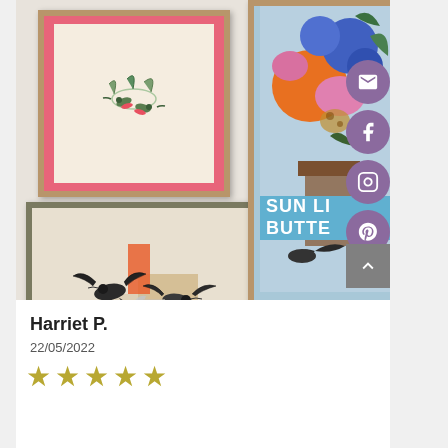[Figure (photo): Photo of three framed artworks hung on a wall: top-left shows a hummingbird illustration on a pink mat in a wood frame, bottom-left shows two birds in black and white mixed media in a dark olive frame, right side shows a colorful floral/figurative illustration in a wood frame with text 'SUN LI... BUTTE...' visible. Social media icons (email, Facebook, Instagram, Pinterest) in purple circles appear on the right edge, along with a grey back-to-top button.]
Harriet P.
22/05/2022
★★★★★